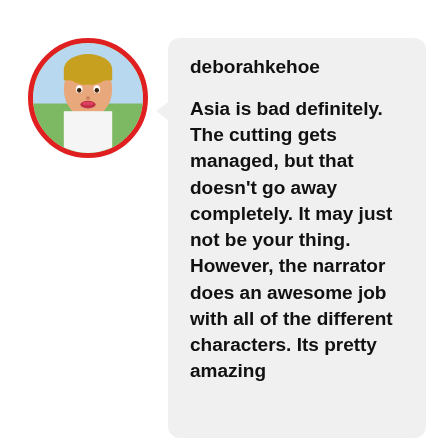[Figure (photo): Circular profile photo of a woman with red ring border, outdoors background]
deborahkehoe
Asia is bad definitely. The cutting gets managed, but that doesn't go away completely. It may just not be your thing. However, the narrator does an awesome job with all of the different characters. Its pretty amazing